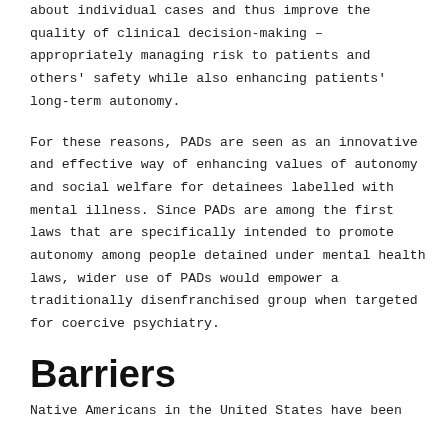about individual cases and thus improve the quality of clinical decision-making – appropriately managing risk to patients and others' safety while also enhancing patients' long-term autonomy.
For these reasons, PADs are seen as an innovative and effective way of enhancing values of autonomy and social welfare for detainees labelled with mental illness. Since PADs are among the first laws that are specifically intended to promote autonomy among people detained under mental health laws, wider use of PADs would empower a traditionally disenfranchised group when targeted for coercive psychiatry.
Barriers
Native Americans in the United States have been